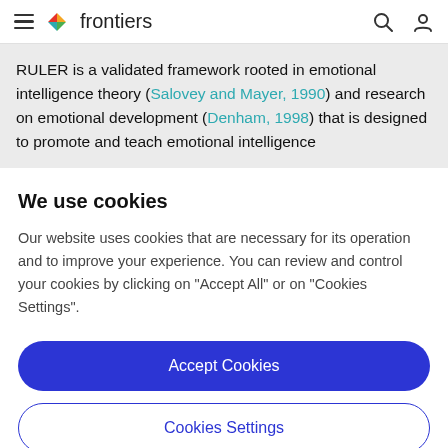frontiers
RULER is a validated framework rooted in emotional intelligence theory (Salovey and Mayer, 1990) and research on emotional development (Denham, 1998) that is designed to promote and teach emotional intelligence
We use cookies
Our website uses cookies that are necessary for its operation and to improve your experience. You can review and control your cookies by clicking on "Accept All" or on "Cookies Settings".
Accept Cookies
Cookies Settings